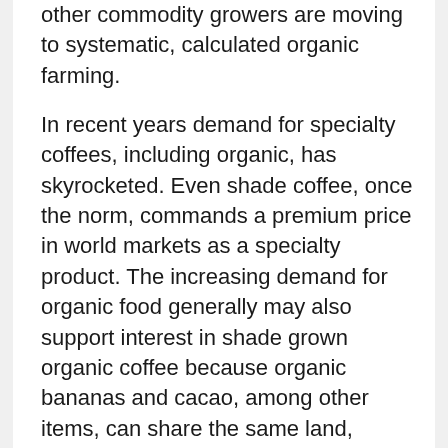other commodity growers are moving to systematic, calculated organic farming.
In recent years demand for specialty coffees, including organic, has skyrocketed. Even shade coffee, once the norm, commands a premium price in world markets as a specialty product. The increasing demand for organic food generally may also support interest in shade grown organic coffee because organic bananas and cacao, among other items, can share the same land, providing an additional economic attraction for growers and, incidentally, returning them to the diversified agricultural methods of their forebears.